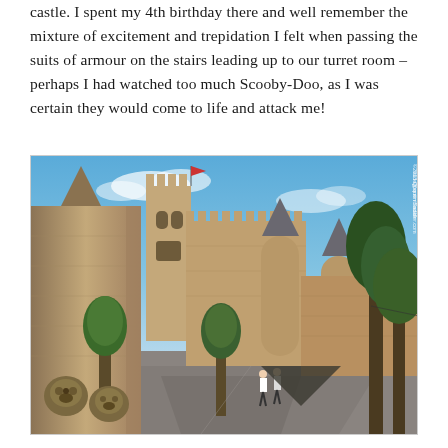castle. I spent my 4th birthday there and well remember the mixture of excitement and trepidation I felt when passing the suits of armour on the stairs leading up to our turret room – perhaps I had watched too much Scooby-Doo, as I was certain they would come to life and attack me!
[Figure (photo): Exterior photograph of a medieval castle with stone towers including conical-roofed turrets, a bell tower, and crenellated walls. Green trees line a wide pedestrian street in the foreground. Two people walk along the path. A small red flag is visible on one tower. Blue sky with light clouds. Bronze lion head fountain visible at lower left. Watermark reads '©2013 Quentin Sadler wine@quentinsadler.com' in vertical text on right edge.]